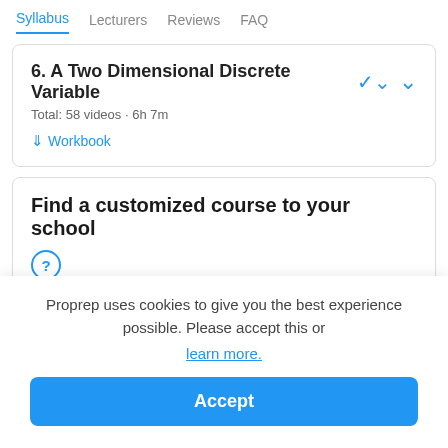Syllabus  Lecturers  Reviews  FAQ
6. A Two Dimensional Discrete Variable
Total: 58 videos · 6h 7m
↓ Workbook
Find a customized course to your school
?
Proprep uses cookies to give you the best experience possible. Please accept this or learn more.
Accept